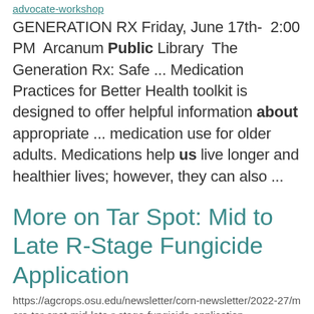advocate-workshop
GENERATION RX Friday, June 17th-  2:00 PM  Arcanum Public Library  The Generation Rx: Safe ... Medication Practices for Better Health toolkit is designed to offer helpful information about appropriate ... medication use for older adults. Medications help us live longer and healthier lives; however, they can also ...
More on Tar Spot: Mid to Late R-Stage Fungicide Application
https://agcrops.osu.edu/newsletter/corn-newsletter/2022-27/more-tar-spot-mid-late-r-stage-fungicide-application